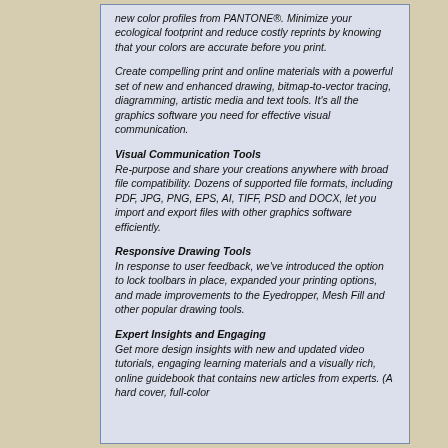new color profiles from PANTONE®. Minimize your ecological footprint and reduce costly reprints by knowing that your colors are accurate before you print.
Create compelling print and online materials with a powerful set of new and enhanced drawing, bitmap-to-vector tracing, diagramming, artistic media and text tools. It's all the graphics software you need for effective visual communication.
Visual Communication Tools
Re-purpose and share your creations anywhere with broad file compatibility. Dozens of supported file formats, including PDF, JPG, PNG, EPS, AI, TIFF, PSD and DOCX, let you import and export files with other graphics software efficiently.
Responsive Drawing Tools
In response to user feedback, we've introduced the option to lock toolbars in place, expanded your printing options, and made improvements to the Eyedropper, Mesh Fill and other popular drawing tools.
Expert Insights and Engaging
Get more design insights with new and updated video tutorials, engaging learning materials and a visually rich, online guidebook that contains new articles from experts. (A hard cover, full-color